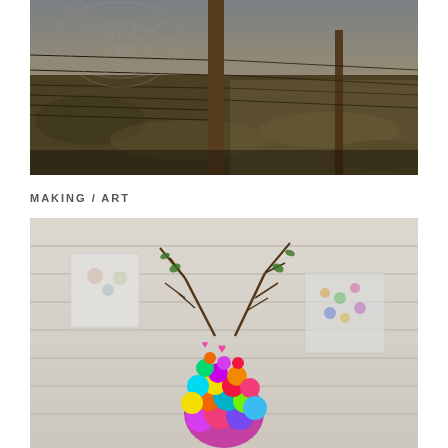[Figure (photo): Landscape photograph of a rural moorland scene with a wooden fence post and wire fence in the foreground, spider web visible on the wire, and grassy moorland stretching into the distance under an overcast sky. Dark, moody tones.]
MAKING / ART
[Figure (photo): Photograph of a colorful decorative deer head sculpture made from buttons and beads in bright multi-colors (pinks, purples, yellows, greens, blues), with twigs as antlers and pink heart decorations, mounted against a white paneled wall backdrop with artwork visible in the background.]